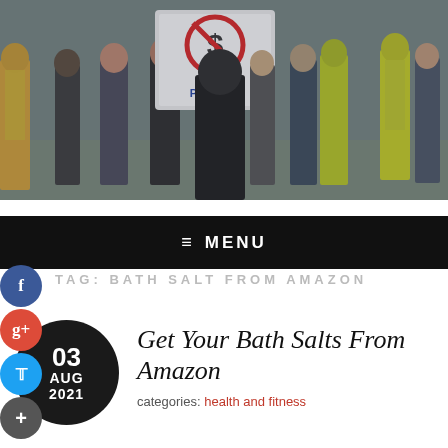[Figure (photo): Crowd of protesters marching, one holding a sign with a dollar sign crossed out reading 'IN POLITICS'. People wearing high-visibility yellow vests visible in the background.]
≡  MENU
TAG: BATH SALT FROM AMAZON
Get Your Bath Salts From Amazon
categories: health and fitness